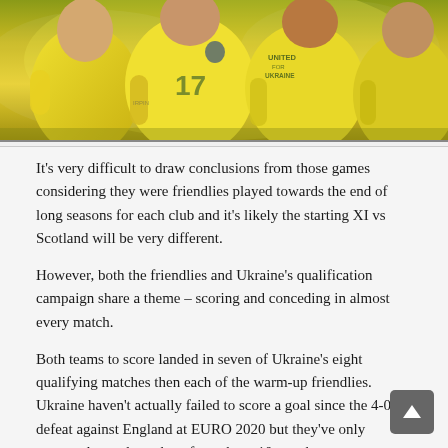[Figure (photo): Ukraine football players in yellow jerseys celebrating on the pitch. One jersey shows number 17, another reads 'UNITED FOR UKRAINE'.]
It's very difficult to draw conclusions from those games considering they were friendlies played towards the end of long seasons for each club and it's likely the starting XI vs Scotland will be very different.
However, both the friendlies and Ukraine's qualification campaign share a theme – scoring and conceding in almost every match.
Both teams to score landed in seven of Ukraine's eight qualifying matches then each of the warm-up friendlies. Ukraine haven't actually failed to score a goal since the 4-0 defeat against England at EURO 2020 but they've only managed one clean sheet from those 10 matches.